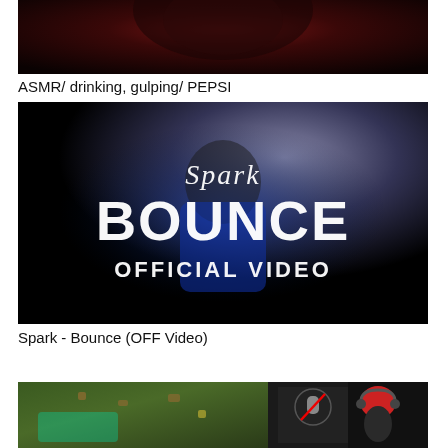[Figure (photo): Dark reddish thumbnail image, cropped top, appears to show a figure in dim red lighting]
ASMR/ drinking, gulping/ PEPSI
[Figure (photo): Spark - Bounce official music video thumbnail. Dark background with blurred figure in blue jacket. Large stylized white text reads 'Spark BOUNCE OFFICIAL VIDEO']
Spark - Bounce (OFF Video)
[Figure (screenshot): Gaming/map screenshot on left side and person with red hair and headset on right side]